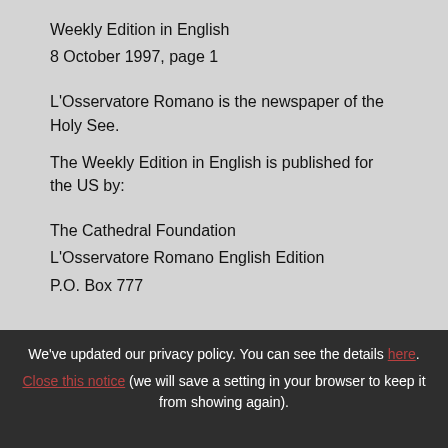Weekly Edition in English
8 October 1997, page 1
L'Osservatore Romano is the newspaper of the Holy See.
The Weekly Edition in English is published for the US by:
The Cathedral Foundation
L'Osservatore Romano English Edition
P.O. Box 777
We've updated our privacy policy. You can see the details here. Close this notice (we will save a setting in your browser to keep it from showing again).